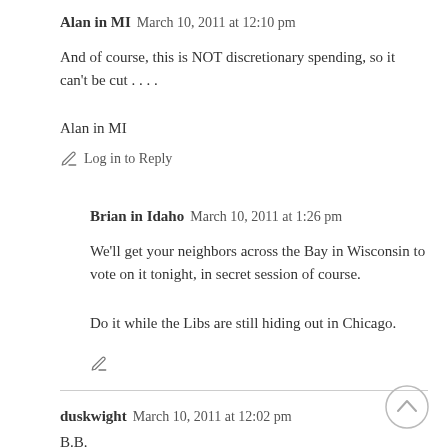Alan in MI  March 10, 2011 at 12:10 pm
And of course, this is NOT discretionary spending, so it can’t be cut . . . .
Alan in MI
✏️  Log in to Reply
Brian in Idaho  March 10, 2011 at 1:26 pm
We’ll get your neighbors across the Bay in Wisconsin to vote on it tonight, in secret session of course.
Do it while the Libs are still hiding out in Chicago.
✏️
duskwight  March 10, 2011 at 12:02 pm
B.B.